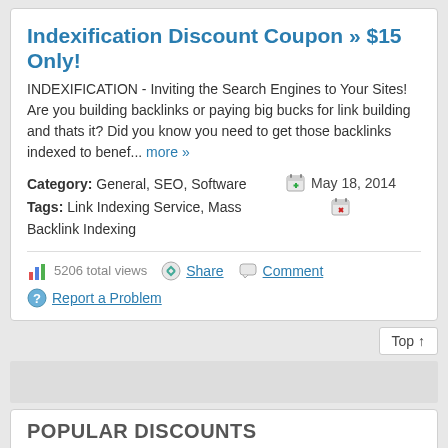Indexification Discount Coupon » $15 Only!
INDEXIFICATION - Inviting the Search Engines to Your Sites! Are you building backlinks or paying big bucks for link building and thats it? Did you know you need to get those backlinks indexed to benef... more »
Category: General, SEO, Software
Tags: Link Indexing Service, Mass Backlink Indexing
May 18, 2014
5206 total views   Share   Comment
Report a Problem
Top ↑
POPULAR DISCOUNTS
The Best Spinner Discount » ONLY $40! - 20 comments